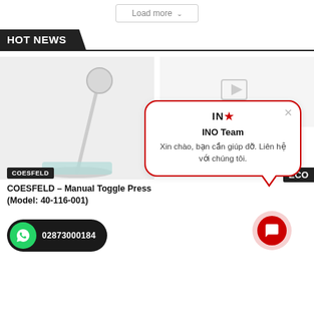[Figure (screenshot): Load more button with dropdown arrow, light gray border]
HOT NEWS
[Figure (photo): Conference microphone on stand, light gray background]
COESFELD
ECO
COESFELD – Manual Toggle Press (Model: 40-116-001)
[Figure (screenshot): WhatsApp contact button with phone number 02873000184]
[Figure (infographic): INO Team chat popup with message: Xin chào, bạn cần giúp đỡ. Liên hệ với chúng tôi.]
[Figure (infographic): Red circular chat/support button]